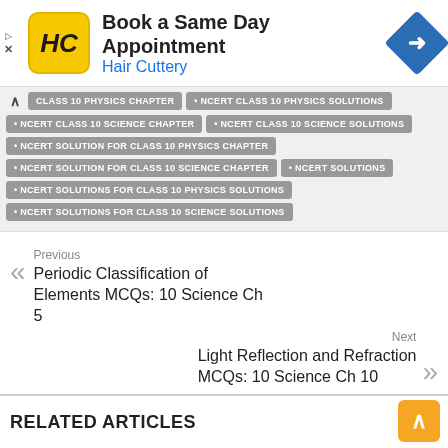[Figure (screenshot): Hair Cuttery advertisement banner with logo, 'Book a Same Day Appointment' text, and navigation arrow icon]
CLASS 10 PHYSICS CHAPTER
NCERT CLASS 10 PHYSICS SOLUTIONS
NCERT CLASS 10 SCIENCE CHAPTER
NCERT CLASS 10 SCIENCE SOLUTIONS
NCERT SOLUTION FOR CLASS 10 PHYSICS CHAPTER
NCERT SOLUTION FOR CLASS 10 SCIENCE CHAPTER
NCERT SOLUTIONS
NCERT SOLUTIONS FOR CLASS 10 PHYSICS SOLUTIONS
NCERT SOLUTIONS FOR CLASS 10 SCIENCE SOLUTIONS
Previous
Periodic Classification of Elements MCQs: 10 Science Ch 5
Next
Light Reflection and Refraction MCQs: 10 Science Ch 10
RELATED ARTICLES